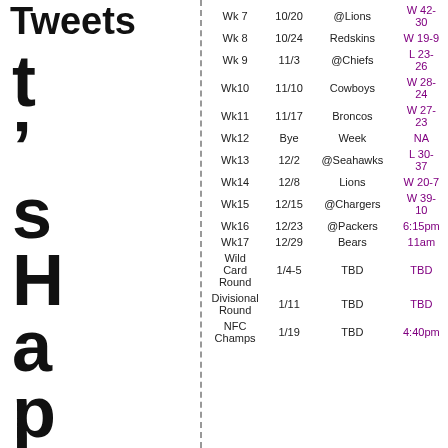Tweets
| Week | Date | Opponent | Result |
| --- | --- | --- | --- |
| Wk 7 | 10/20 | @Lions | W 42-30 |
| Wk 8 | 10/24 | Redskins | W 19-9 |
| Wk 9 | 11/3 | @Chiefs | L 23-26 |
| Wk10 | 11/10 | Cowboys | W 28-24 |
| Wk11 | 11/17 | Broncos | W 27-23 |
| Wk12 | Bye | Week | NA |
| Wk13 | 12/2 | @Seahawks | L 30-37 |
| Wk14 | 12/8 | Lions | W 20-7 |
| Wk15 | 12/15 | @Chargers | W 39-10 |
| Wk16 | 12/23 | @Packers | 6:15pm |
| Wk17 | 12/29 | Bears | 11am |
| Wild Card Round | 1/4-5 | TBD | TBD |
| Divisional Round | 1/11 | TBD | TBD |
| NFC Champs | 1/19 | TBD | 4:40pm |